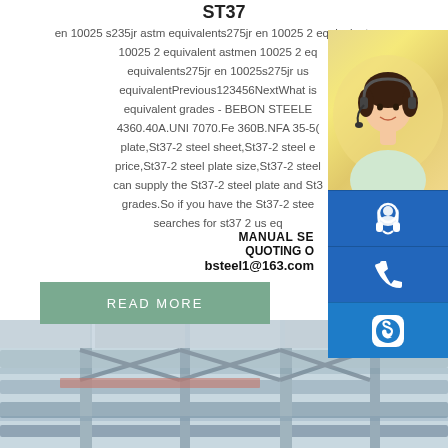ST37
en 10025 s235jr astm equivalents275jr en 10025 2 equivalenten 10025 2 equivalent astmen 10025 2 equivalents275jr en 10025s275jr us equivalentPrevious123456NextWhat is equivalent grades - BEBON STEELE 4360.40A.UNI 7070.Fe 360B.NFA 35-50 plate,St37-2 steel sheet,St37-2 steel e price,St37-2 steel plate size,St37-2 steel can supply the St37-2 steel plate and St3 grades.So if you have the St37-2 stee searches for st37 2 us eq
[Figure (photo): Customer service representative woman with headset, yellow background]
[Figure (infographic): Blue icon box with headset/customer service icon]
[Figure (infographic): Blue icon box with phone icon]
[Figure (infographic): Blue icon box with Skype logo]
MANUAL SE QUOTING O bsteel1@163.com
READ MORE
[Figure (photo): Steel construction/warehouse structural beams and framework, industrial setting]